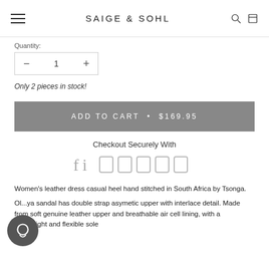SAIGE & SOHL
Quantity:
— 1 +
Only 2 pieces in stock!
ADD TO CART • $169.95
Checkout Securely With
[Figure (other): Row of payment method icons (fi and card icons)]
Women's leather dress casual heel hand stitched in South Africa by Tsonga.
Ol...ya sandal has double strap asymetic upper with interlace detail. Made from soft genuine leather upper and breathable air cell lining, with a lightweight and flexible sole